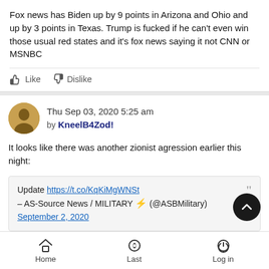Fox news has Biden up by 9 points in Arizona and Ohio and up by 3 points in Texas. Trump is fucked if he can't even win those usual red states and it's fox news saying it not CNN or MSNBC
Like  Dislike
Thu Sep 03, 2020 5:25 am by KneelB4Zod!
It looks like there was another zionist agression earlier this night:
Update https://t.co/KqKiMgWNSt
– AS-Source News / MILITARY (@ASBMilitary)
September 2, 2020
Like  Dislike
Home  Last  Log in